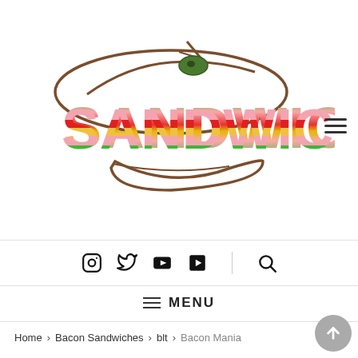[Figure (logo): Sandwich Dad logo: cartoon sub sandwich drawing with olive on top and colorful striped text reading SANDWICH DAD]
[Figure (infographic): Social media icons: Instagram, Twitter, YouTube, YouTube (alternate), and search magnifier icon in a horizontal bar]
≡ MENU
Home > Bacon Sandwiches > blt > Bacon Mania